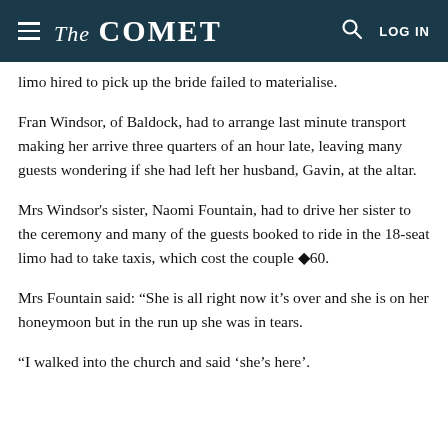The COMET  LOG IN
limo hired to pick up the bride failed to materialise.
Fran Windsor, of Baldock, had to arrange last minute transport making her arrive three quarters of an hour late, leaving many guests wondering if she had left her husband, Gavin, at the altar.
Mrs Windsor's sister, Naomi Fountain, had to drive her sister to the ceremony and many of the guests booked to ride in the 18-seat limo had to take taxis, which cost the couple ◆60.
Mrs Fountain said: “She is all right now it’s over and she is on her honeymoon but in the run up she was in tears.
“I walked into the church and said ‘she’s here’.